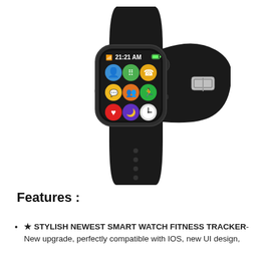[Figure (photo): A black smartwatch with a square face showing a home screen with 9 app icons in a 3x3 grid (contacts, messages, phone, chat, settings, fitness, health/heart, sleep/moon, clock), displaying time 21:21 AM with battery indicator and Bluetooth icon. The watch has a black rubber/silicone band with pin-buckle clasp.]
Features :
★ STYLISH NEWEST SMART WATCH FITNESS TRACKER - New upgrade, perfectly compatible with IOS, new UI design, new button design, make it more stylish look.